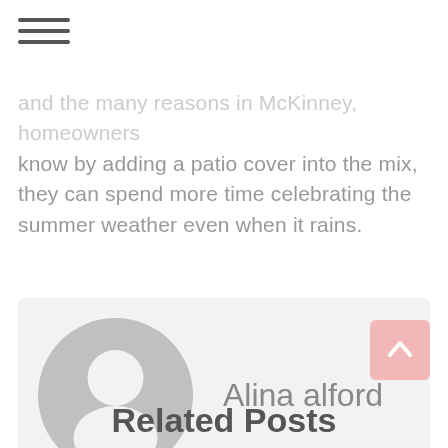[Figure (other): Hamburger menu icon with three horizontal lines]
and the many reasons in McKinney, homeowners know by adding a patio cover into the mix, they can spend more time celebrating the summer weather even when it rains.
[Figure (other): Author card with gray avatar placeholder icon and author name Alina alford]
[Figure (other): Back to top button with pink background and upward arrow]
Related Posts